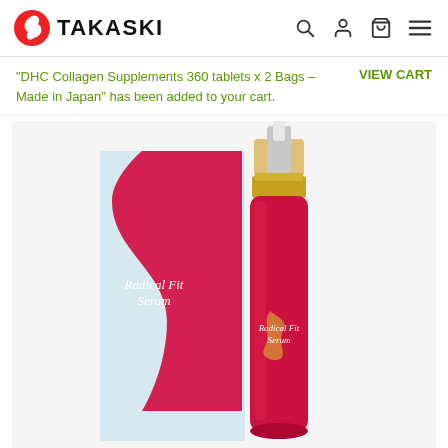TAKASKI
“DHC Collagen Supplements 360 tablets x 2 Bags – Made in Japan” has been added to your cart.   VIEW CART
[Figure (photo): Product photo showing Radical Fit Serum box (white and red with wavy design) next to a red pump bottle with gold cap labeled Radical Fit Serum]